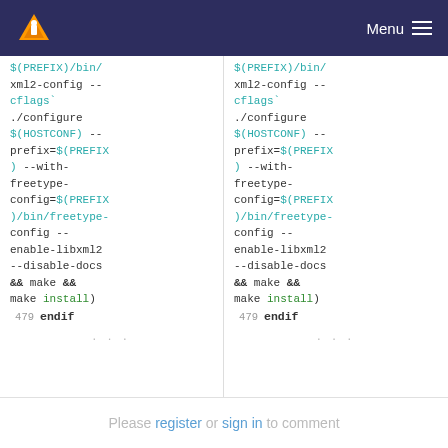VLC media player — Menu
$(PREFIX)/bin/
xml2-config --cflags`
./configure $(HOSTCONF) --prefix=$(PREFIX) --with-freetype-config=$(PREFIX)/bin/freetype-config --enable-libxml2 --disable-docs && make && make install)
479   endif
...
$(PREFIX)/bin/
xml2-config --cflags`
./configure $(HOSTCONF) --prefix=$(PREFIX) --with-freetype-config=$(PREFIX)/bin/freetype-config --enable-libxml2 --disable-docs && make && make install)
479   endif
...
Please register or sign in to comment